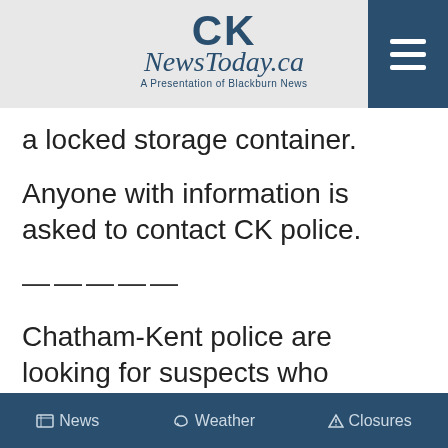CK NewsToday.ca – A Presentation of Blackburn News
a locked storage container.
Anyone with information is asked to contact CK police.
—————
Chatham-Kent police are looking for suspects who unloaded a large number of garbage items on Golf Course Line in Ridgetown
News  Weather  Closures